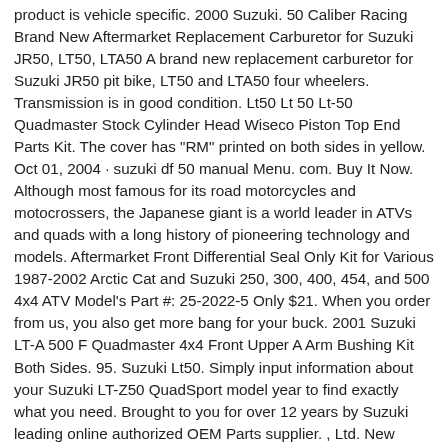product is vehicle specific. 2000 Suzuki. 50 Caliber Racing Brand New Aftermarket Replacement Carburetor for Suzuki JR50, LT50, LTA50 A brand new replacement carburetor for Suzuki JR50 pit bike, LT50 and LTA50 four wheelers. Transmission is in good condition. Lt50 Lt 50 Lt-50 Quadmaster Stock Cylinder Head Wiseco Piston Top End Parts Kit. The cover has "RM" printed on both sides in yellow. Oct 01, 2004 · suzuki df 50 manual Menu. com. Buy It Now. Although most famous for its road motorcycles and motocrossers, the Japanese giant is a world leader in ATVs and quads with a long history of pioneering technology and models. Aftermarket Front Differential Seal Only Kit for Various 1987-2002 Arctic Cat and Suzuki 250, 300, 400, 454, and 500 4x4 ATV Model's Part #: 25-2022-5 Only $21. When you order from us, you also get more bang for your buck. 2001 Suzuki LT-A 500 F Quadmaster 4x4 Front Upper A Arm Bushing Kit Both Sides. 95. Suzuki Lt50. Simply input information about your Suzuki LT-Z50 QuadSport model year to find exactly what you need. Brought to you for over 12 years by Suzuki leading online authorized OEM Parts supplier. , Ltd. New Suzuki Lt50 84 - 87 Quadrunner Plastic Orange Front Fender Lt 50 Plastics. 4 YRS. 99. Suzuki Lt50 Lt-a 50 Quad Master, Atv Arrives by Thu, Dec 2 Buy BH-Motor Carburetor Carb Suzuki